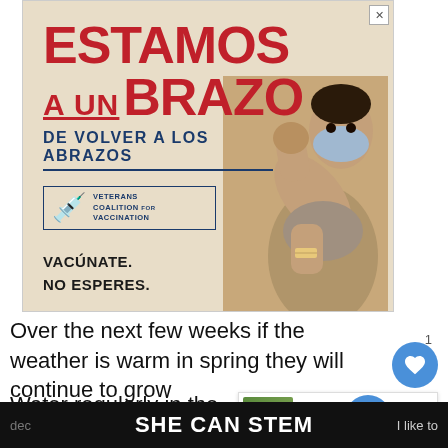[Figure (infographic): Spanish-language vaccination advertisement. Large red bold text reads 'ESTAMOS A UN BRAZO DE VOLVER A LOS ABRAZOS'. Features a person wearing a face mask flexing their arm showing a bandage after vaccination. Veterans Coalition for Vaccination logo shown. Text reads 'VACÚNATE. NO ESPERES.']
Over the next few weeks if the weather is warm in spring they will continue to grow
Water regularly in the first week to ensure that the roots stay moist. You can gradually dec
[Figure (infographic): What's Next panel showing thumbnail of fertilizer article with text 'WHAT'S NEXT → How to Fertilize a...']
SHE CAN STEM